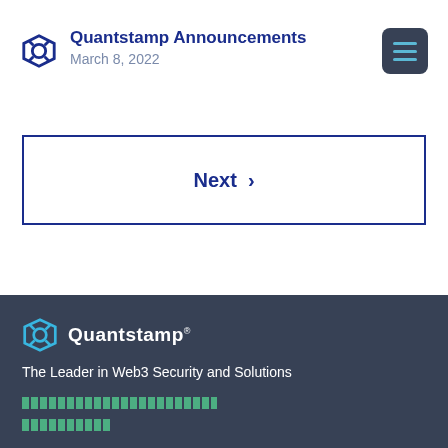Quantstamp Announcements · March 8, 2022
Next >
[Figure (logo): Quantstamp logo with icon and brand name, on dark blue-grey background]
The Leader in Web3 Security and Solutions